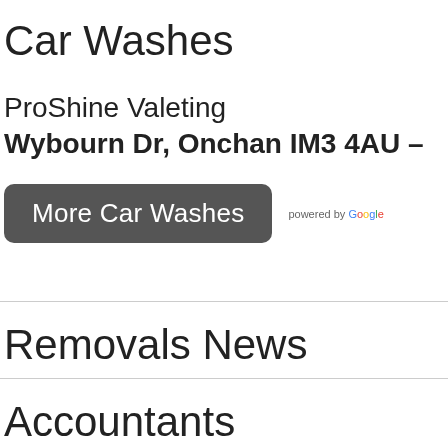Car Washes
ProShine Valeting
Wybourn Dr, Onchan IM3 4AU –
More Car Washes   powered by Google
Removals News
Accountants